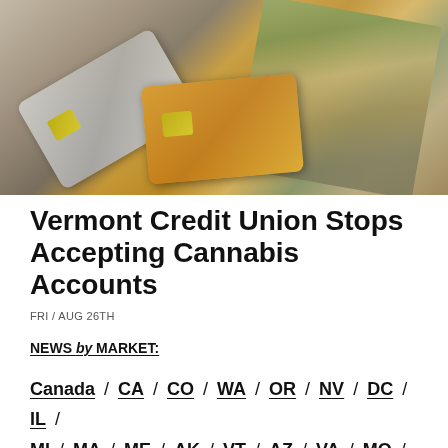[Figure (photo): Photo of credit cards (silver and orange) overlapping US dollar bills]
Vermont Credit Union Stops Accepting Cannabis Accounts
FRI / AUG 26TH
NEWS by MARKET:
Canada / CA / CO / WA / OR / NV / DC / IL / MI / MA / ME / AK / VT / AZ / VA / MO /